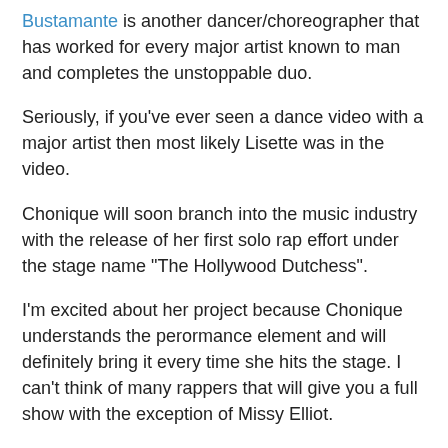Bustamante is another dancer/choreographer that has worked for every major artist known to man and completes the unstoppable duo.
Seriously, if you've ever seen a dance video with a major artist then most likely Lisette was in the video.
Chonique will soon branch into the music industry with the release of her first solo rap effort under the stage name "The Hollywood Dutchess".
I'm excited about her project because Chonique understands the perormance element and will definitely bring it every time she hits the stage. I can't think of many rappers that will give you a full show with the exception of Missy Elliot.
Chonique has put together an amazing reel to share her life and work with her fans old and new. Get into it below! And if you're in L.A. on March 29th then you can check out Chonique and Lisette's Master Class in Hollywood.